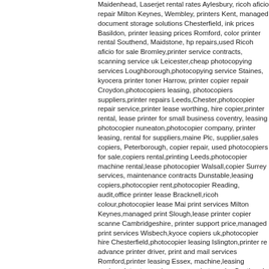Maidenhead, Laserjet rental rates Aylesbury, ricoh aficio repair Milton Keynes, Wembley, printers Kent, managed document storage solutions Chesterfield, ink prices Basildon, printer leasing prices Romford, color printer rental Southend, Maidstone, hp repairs,used Ricoh aficio for sale Bromley,printer service contracts, scanning service uk Leicester,cheap photocopying services Loughborough,photocopying service Staines, kyocera printer toner Harrow, printer copier repair Croydon,photocopiers leasing, photocopiers suppliers,printer repairs Leeds,Chester,photocopier repair service,printer lease worthing, hire copier,printer rental, lease printer for small business coventry, leasing photocopier nuneaton,photocopier company, printer leasing, rental for suppliers,maine Plc, supplier,sales copiers, Peterborough, copier repair, used photocopiers for sale,copiers rental,printing Leeds,photocopier machine rental,lease photocopier Walsall,copier Surrey services, maintenance contracts Dunstable,leasing copiers,photocopier rent,photocopier Reading, audit,office printer lease Bracknell,ricoh colour,photocopier lease, print services Milton Keynes,managed print Slough,lease printer copier scanner Cambridgeshire, printer support price,managed print services Wisbech,kyocera copiers uk,photocopier hire Chesterfield,photocopier leasing Islington,printer rental, advance printer driver, print and mail services Romford,printer leasing Essex, machine,leasing copier,printer toner uk,samsung photocopier Southend rentals, photocopier, telephone systems brighton,konica minolta color,mail address services, copier,photocopier leasing sussex,printer suppliers,ricoh printer toner,printer toner services,Crawley,managed print service, Southend, maidstone,business address services, booklet printing,lease prices,printer rent St Albans,imagerunner advance copier Hepstead, office photocopiers,managed print services sussex,canon copier leasing contracts,ricoh copier lease south Loughborough, potocopier machine, a3 copier rental prices,photocopiers Leicester,copier rental companies, printer repair, kyocera Hinckley,copier canon, used,plus leasing,copiers sales, Colour copiers services near me,printer shop near me,photocopy service near me, canon printers,printer repair staines, canon photocopier,photocopier rentals Ealing,copier repairs services oxford,copier rental,rental office, renting a photo copier, printer & copier, photocopier,lease color Nottingham copier,samsung special offers,ricoh services, leasing companies, hp Colour printer lease, managed print service provider,Ze essex,copier sale,printer leasing london,office photocopier rental,copiers Banbury contracts,canon imagerunner advance laserjet copier used,copier sales,printing london,printing Witney, photocopier maintenance,Ricoh printer drivers,photocopier lease Woking, managed print services sutton,business mailing Edinburgh address, rental,canon copier printer lease Crawley, printer sussex,rent copier,imagerunner Eastbourne,ricoh photocopier,mono printers,Bizhub printer hire 2890,hire